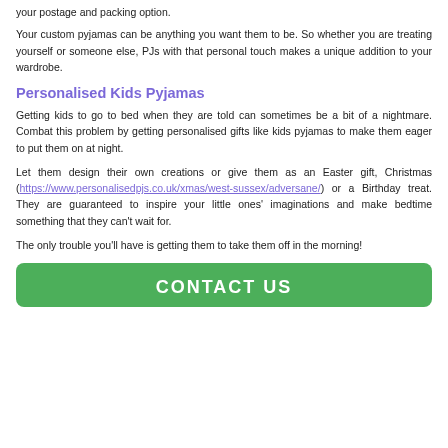your postage and packing option.
Your custom pyjamas can be anything you want them to be. So whether you are treating yourself or someone else, PJs with that personal touch makes a unique addition to your wardrobe.
Personalised Kids Pyjamas
Getting kids to go to bed when they are told can sometimes be a bit of a nightmare. Combat this problem by getting personalised gifts like kids pyjamas to make them eager to put them on at night.
Let them design their own creations or give them as an Easter gift, Christmas (https://www.personalisedpjs.co.uk/xmas/west-sussex/adversane/) or a Birthday treat. They are guaranteed to inspire your little ones' imaginations and make bedtime something that they can't wait for.
The only trouble you'll have is getting them to take them off in the morning!
CONTACT US